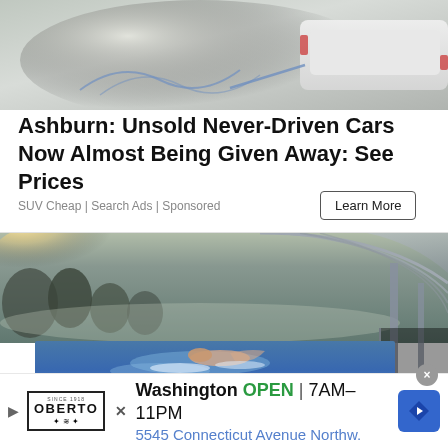[Figure (photo): Garage floor scene with ropes/straps and white car in background]
Ashburn: Unsold Never-Driven Cars Now Almost Being Given Away: See Prices
SUV Cheap | Search Ads | Sponsored
Learn More
[Figure (photo): Person swimming in luxury indoor/outdoor pool with glass enclosure and misty lake in background]
Washington  OPEN  7AM–11PM  5545 Connecticut Avenue Northw.